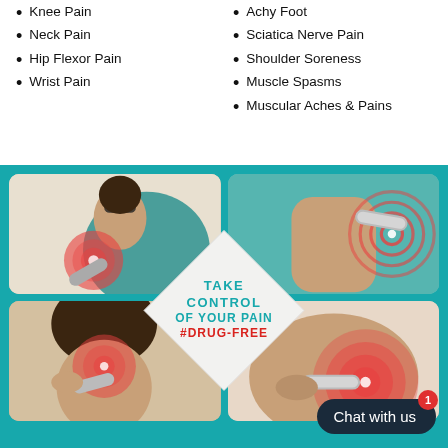Knee Pain
Neck Pain
Hip Flexor Pain
Wrist Pain
Achy Foot
Sciatica Nerve Pain
Shoulder Soreness
Muscle Spasms
Muscular Aches & Pains
[Figure (photo): Product usage photos showing a device being applied to shoulder, elbow, neck, and arm pain areas. Center diamond overlay reads TAKE CONTROL OF YOUR PAIN #DRUG-FREE.]
Chat with us